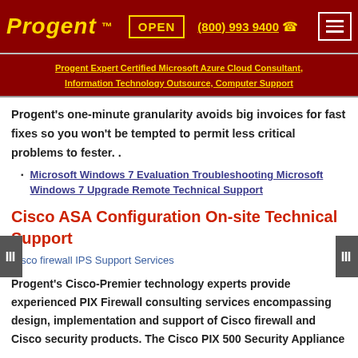Progent TM | OPEN | (800) 993 9400 | [menu]
Progent Expert Certified Microsoft Azure Cloud Consultant, Information Technology Outsource, Computer Support
Progent's one-minute granularity avoids big invoices for fast fixes so you won't be tempted to permit less critical problems to fester. .
Microsoft Windows 7 Evaluation Troubleshooting Microsoft Windows 7 Upgrade Remote Technical Support
Cisco ASA Configuration On-site Technical Support
Cisco firewall IPS Support Services
Progent's Cisco-Premier technology experts provide experienced PIX Firewall consulting services encompassing design, implementation and support of Cisco firewall and Cisco security products. The Cisco PIX 500 Security Appliance